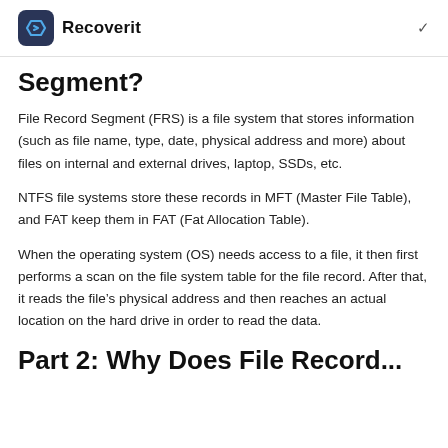Recoverit
Segment?
File Record Segment (FRS) is a file system that stores information (such as file name, type, date, physical address and more) about files on internal and external drives, laptop, SSDs, etc.
NTFS file systems store these records in MFT (Master File Table), and FAT keep them in FAT (Fat Allocation Table).
When the operating system (OS) needs access to a file, it then first performs a scan on the file system table for the file record. After that, it reads the file’s physical address and then reaches an actual location on the hard drive in order to read the data.
Part 2: Why Does File Record...